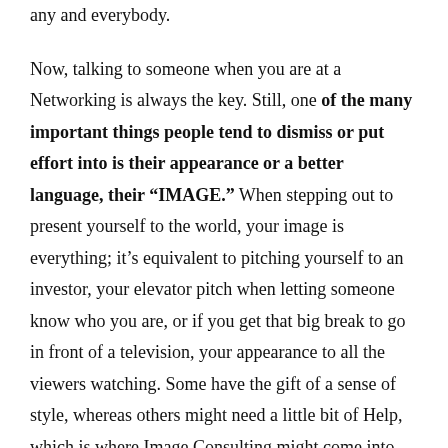any and everybody.
Now, talking to someone when you are at a Networking is always the key. Still, one of the many important things people tend to dismiss or put effort into is their appearance or a better language, their “IMAGE.” When stepping out to present yourself to the world, your image is everything; it’s equivalent to pitching yourself to an investor, your elevator pitch when letting someone know who you are, or if you get that big break to go in front of a television, your appearance to all the viewers watching. Some have the gift of a sense of style, whereas others might need a little bit of Help, which is where Image Consulting might come into play, if necessary.
We had the opportunity of interviewing Courtney O’Neal, a local Image Consultant and Media maven based in the